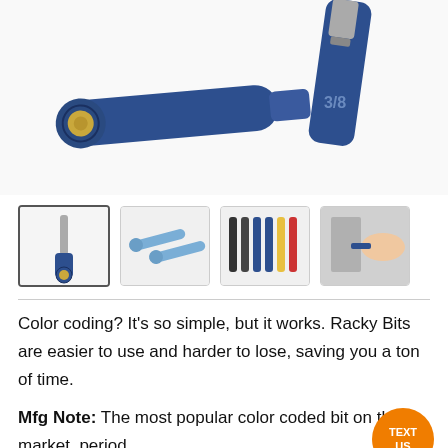[Figure (photo): Close-up photo of two dark navy blue color-coded drill bits/socket tools on a white background. One is horizontal showing the tip with a gold center, and one is vertical showing the socket end with '3/8' marking.]
[Figure (photo): Four thumbnail images: 1) A blue color-coded screwdriver bit (selected/highlighted), 2) Two blue elongated bits side by side, 3) Multiple color-coded bits in a row (dark, blue, yellow, red), 4) A person's hand installing or using a bit on a wall panel.]
Color coding? It's so simple, but it works. Racky Bits are easier to use and harder to lose, saving you a ton of time.
Mfg Note: The most popular color coded bit on the market, period.